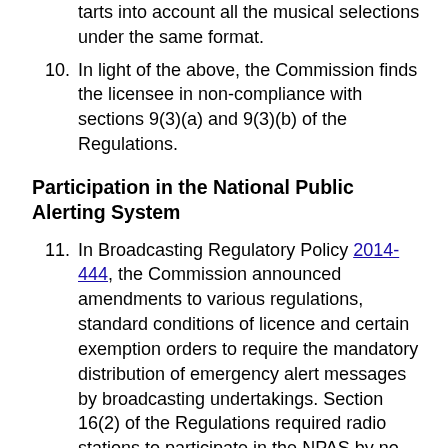takes into account all the musical selections under the same format.
10. In light of the above, the Commission finds the licensee in non-compliance with sections 9(3)(a) and 9(3)(b) of the Regulations.
Participation in the National Public Alerting System
11. In Broadcasting Regulatory Policy 2014-444, the Commission announced amendments to various regulations, standard conditions of licence and certain exemption orders to require the mandatory distribution of emergency alert messages by broadcasting undertakings. Section 16(2) of the Regulations required radio stations to participate in the NPAS by no later than 31 March 2015.
12. According to Commission records, on the date of filing the application, Radio Sorel-Tracy had not installed and implemented the NPAS.
13. The licensee indicated that it had taken the steps to